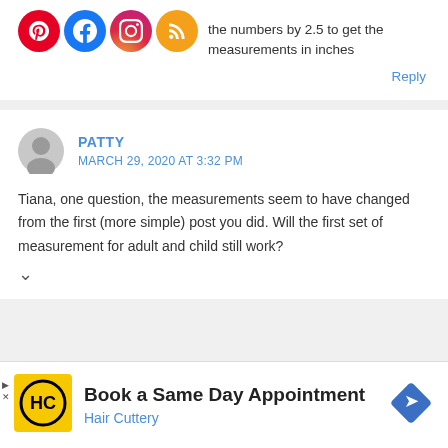[Figure (other): Social media icons: Pinterest, Facebook, Instagram, RSS feed]
the numbers by 2.5 to get the measurements in inches
Reply
PATTY
MARCH 29, 2020 AT 3:32 PM
Tiana, one question, the measurements seem to have changed from the first (more simple) post you did. Will the first set of measurement for adult and child still work?
[Figure (logo): Hair Cuttery logo - HC letters in black circle on yellow background]
Book a Same Day Appointment
Hair Cuttery